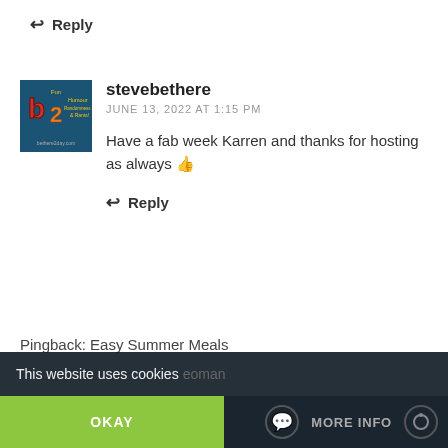↩ Reply
[Figure (logo): b2 blog avatar with text Fun Humour Randomness & Rants on dark blue/teal background]
stevebethere
JUNE 13, 2022 AT 1:15 PM
Have a fab week Karren and thanks for hosting as always 👍
↩ Reply
Pingback: Easy Summer Meals
This website uses cookies
OKAY
MORE INFO